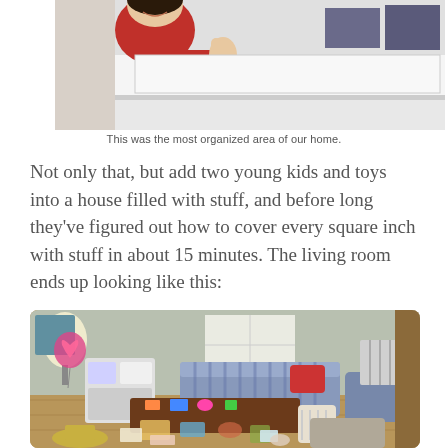[Figure (photo): A smiling woman giving a thumbs up gesture next to what appears to be an open refrigerator or cabinet drawer, wearing a dark red top.]
This was the most organized area of our home.
Not only that, but add two young kids and toys into a house filled with stuff, and before long they’ve figured out how to cover every square inch with stuff in about 15 minutes. The living room ends up looking like this:
[Figure (photo): A messy living room with toys and clutter scattered all over the floor, a sofa, chairs, children's play kitchen, and various items strewn across a wooden floor.]